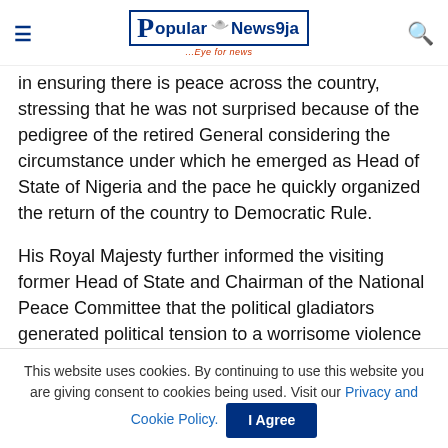PopularNews9ja ...Eye for news
in ensuring there is peace across the country, stressing that he was not surprised because of the pedigree of the retired General considering the circumstance under which he emerged as Head of State of Nigeria and the pace he quickly organized the return of the country to Democratic Rule.
His Royal Majesty further informed the visiting former Head of State and Chairman of the National Peace Committee that the political gladiators generated political tension to a worrisome violence dimension before they were called to order in peace meeting that brought peace
This website uses cookies. By continuing to use this website you are giving consent to cookies being used. Visit our Privacy and Cookie Policy.  I Agree